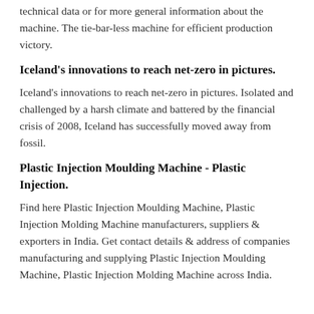technical data or for more general information about the machine. The tie-bar-less machine for efficient production victory.
Iceland's innovations to reach net-zero in pictures.
Iceland's innovations to reach net-zero in pictures. Isolated and challenged by a harsh climate and battered by the financial crisis of 2008, Iceland has successfully moved away from fossil.
Plastic Injection Moulding Machine - Plastic Injection.
Find here Plastic Injection Moulding Machine, Plastic Injection Molding Machine manufacturers, suppliers & exporters in India. Get contact details & address of companies manufacturing and supplying Plastic Injection Moulding Machine, Plastic Injection Molding Machine across India.